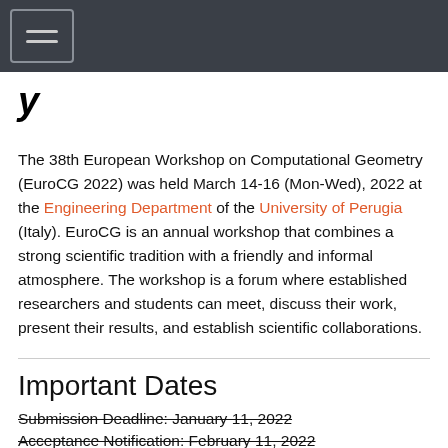[navigation bar with hamburger menu]
y
The 38th European Workshop on Computational Geometry (EuroCG 2022) was held March 14-16 (Mon-Wed), 2022 at the Engineering Department of the University of Perugia (Italy). EuroCG is an annual workshop that combines a strong scientific tradition with a friendly and informal atmosphere. The workshop is a forum where established researchers and students can meet, discuss their work, present their results, and establish scientific collaborations.
Important Dates
Submission Deadline: January 11, 2022
Acceptance Notification: February 11, 2022